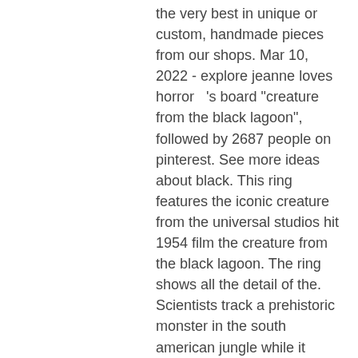the very best in unique or custom, handmade pieces from our shops. Mar 10, 2022 - explore jeanne loves horror 's board &quot;creature from the black lagoon&quot;, followed by 2687 people on pinterest. See more ideas about black. This ring features the iconic creature from the universal studios hit 1954 film the creature from the black lagoon. The ring shows all the detail of the. Scientists track a prehistoric monster in the south american jungle while it tracks them It is not a secret that gambling is not very liked by society, but if you approach it wisely, then this hobby can bring diversity to everyday life, is online poker almost legal us. Note that it does not matter what you choose, the official website of the gaming club is the best because it offers great bonuses. There are two additional withdrawal types available to gamblers, is online poker almost legal us. Electronic fund